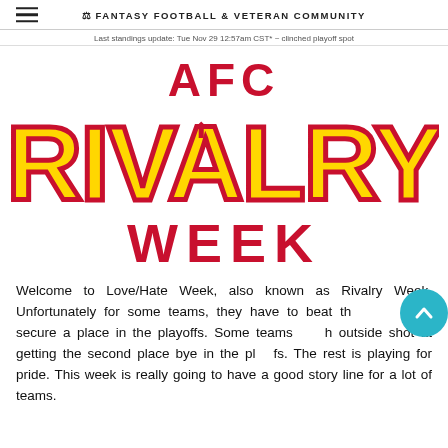FANTASY FOOTBALL & VETERAN COMMUNITY
Last standings update: Tue Nov 29 12:57am CST* ~ clinched playoff spot
[Figure (logo): AFC Rivalry Week logo with large yellow block letters 'RIVALRY' with red outline on white background, 'AFC' in red above, 'WEEK' in red below]
Welcome to Love/Hate Week, also known as Rivalry Week. Unfortunately for some teams, they have to beat their rivals to secure a place in the playoffs. Some teams have an outside shot at getting the second place bye in the playoffs. The rest is playing for pride. This week is really going to have a good story line for a lot of teams.